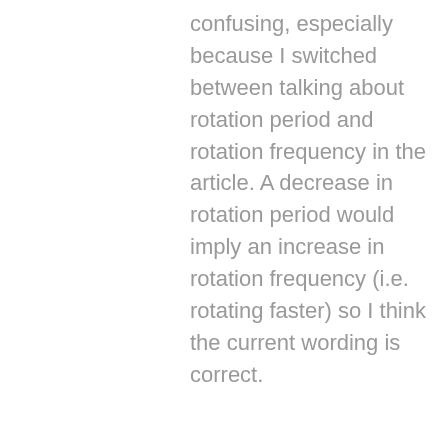confusing, especially because I switched between talking about rotation period and rotation frequency in the article. A decrease in rotation period would imply an increase in rotation frequency (i.e. rotating faster) so I think the current wording is correct.